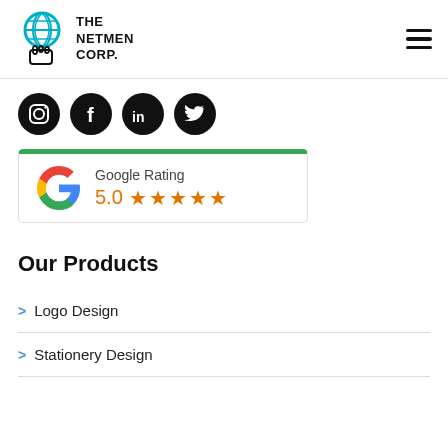The Netmen Corp.
[Figure (logo): The Netmen Corp logo with globe and hand icon]
[Figure (infographic): Social media icons: Instagram, Facebook, LinkedIn, Twitter]
[Figure (infographic): Google Rating widget showing 5.0 stars with Google G logo]
Our Products
Logo Design
Stationery Design